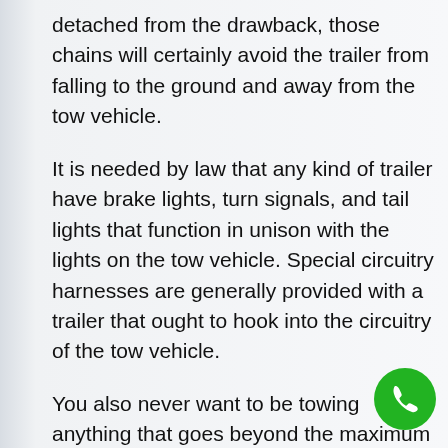detached from the drawback, those chains will certainly avoid the trailer from falling to the ground and away from the tow vehicle.
It is needed by law that any kind of trailer have brake lights, turn signals, and tail lights that function in unison with the lights on the tow vehicle. Special circuitry harnesses are generally provided with a trailer that ought to hook into the circuitry of the tow vehicle.
You also never want to be towing anything that goes beyond the maximum tow ability of your vehicle. There are actually 2 excellent reasons for this. When towing trailers beyond the towing capacity, the very first is that you will certainly harm
[Figure (illustration): Green circular phone/call button icon in the bottom-right corner]